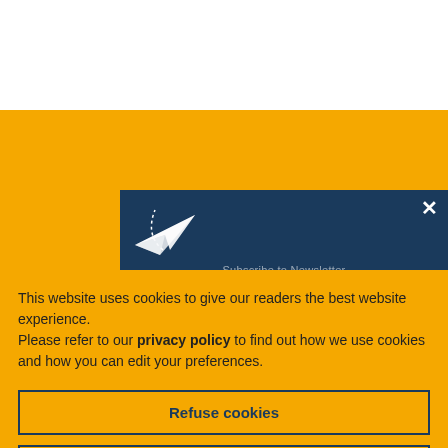TEC TALES – tagging medical technologies
Request more information ...
Subscribe to our newsletter
[Figure (screenshot): Dark blue newsletter subscription popup with paper plane icon and 'Subscribe to Newsletter' text, with an X close button]
This website uses cookies to give our readers the best website experience.
Please refer to our privacy policy to find out how we use cookies and how you can edit your preferences.
Refuse cookies
Accept cookies